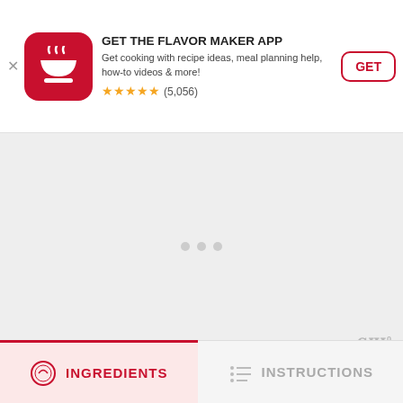[Figure (screenshot): App install banner for 'Flavor Maker App' with red icon showing a bowl, title 'GET THE FLAVOR MAKER APP', description text, 5-star rating (5,056 reviews), and a red-outlined GET button]
GET THE FLAVOR MAKER APP
Get cooking with recipe ideas, meal planning help, how-to videos & more!
★★★★★ (5,056)
[Figure (screenshot): Main content area showing a light gray loading/blank screen with three small gray dots in center and a watermark 'WWº' in bottom right]
[Figure (screenshot): Bottom navigation bar showing INGREDIENTS tab (active, red background, white text) and INSTRUCTIONS tab (inactive, gray text)]